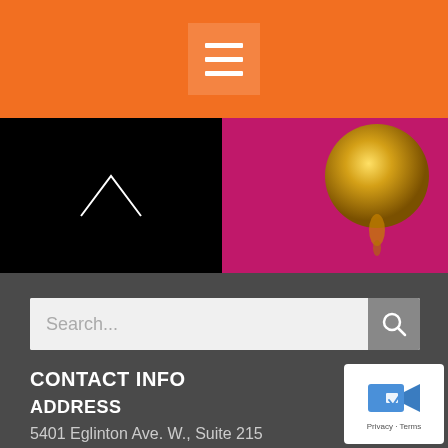[Figure (screenshot): Orange header bar with hamburger menu icon in a semi-transparent box]
[Figure (photo): Two-panel image strip: left panel is black with a white geometric shape, right panel is magenta/pink with a golden metallic sphere]
Search...
CONTACT INFO
ADDRESS
5401 Eglinton Ave. W., Suite 215
Toronto, Ontario, M9C 5K6
PHONE
Work: (416) 466-6217